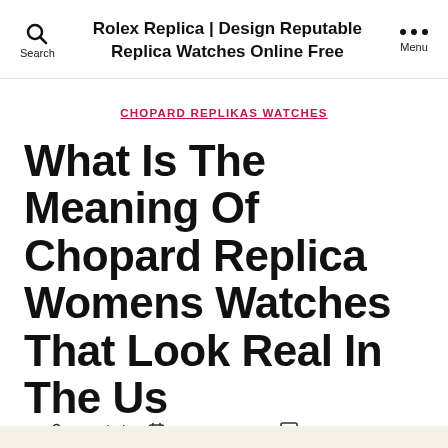Rolex Replica | Design Reputable Replica Watches Online Free
CHOPARD REPLIKAS WATCHES
What Is The Meaning Of Chopard Replica Womens Watches That Look Real In The Us
By admin   June 21, 2022   No Comments